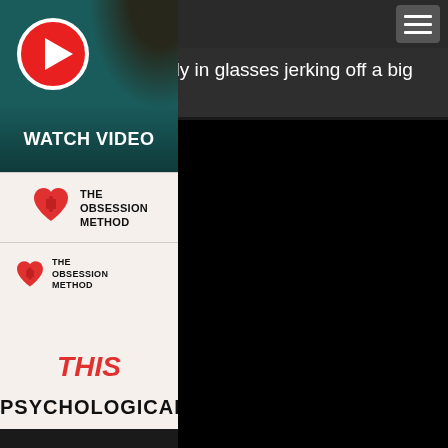Navigation menu button
Naughty mature lady in glasses jerking off a big hard cock
[Figure (screenshot): Video thumbnail showing a woman with a red play button circle overlay and 'WATCH VIDEO' text]
[Figure (logo): The Obsession Method logo with red heart icon]
[Figure (screenshot): The Obsession Method logo with text THIS PSYCHOLOGICAL below]